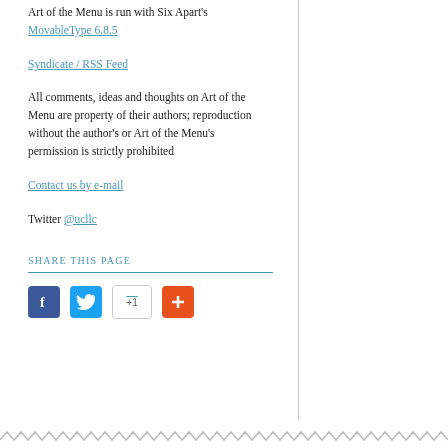Art of the Menu is run with Six Apart's MovableType 6.8.5
Syndicate / RSS Feed
All comments, ideas and thoughts on Art of the Menu are property of their authors; reproduction without the author's or Art of the Menu's permission is strictly prohibited
Contact us by e-mail
Twitter @ucllc
SHARE THIS PAGE
[Figure (other): Social sharing icons: Facebook, Twitter, Google +1, and a red plus/share button]